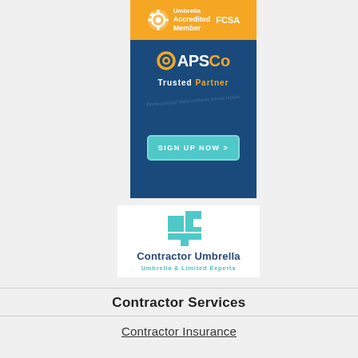[Figure (logo): FCSA Accredited Member badge with orange background and white gear/circular icon, with FCSA text]
[Figure (logo): APSCo Trusted Partner logo on dark blue background with teal ring icon and white/orange text, plus SIGN UP NOW > green button]
[Figure (logo): Contractor Umbrella logo with teal CU icon and text 'Contractor Umbrella - Umbrella & Limited Experts']
Contractor Services
Contractor Insurance